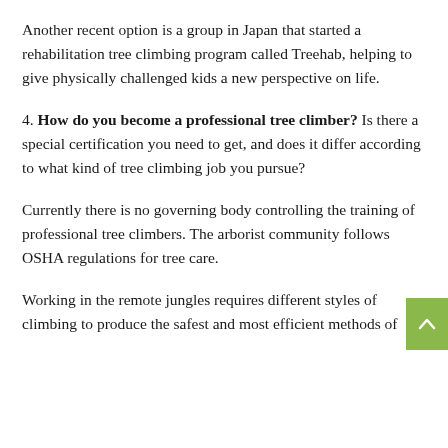Another recent option is a group in Japan that started a rehabilitation tree climbing program called Treehab, helping to give physically challenged kids a new perspective on life.
4. How do you become a professional tree climber? Is there a special certification you need to get, and does it differ according to what kind of tree climbing job you pursue?
Currently there is no governing body controlling the training of professional tree climbers. The arborist community follows OSHA regulations for tree care.
Working in the remote jungles requires different styles of climbing to produce the safest and most efficient methods of